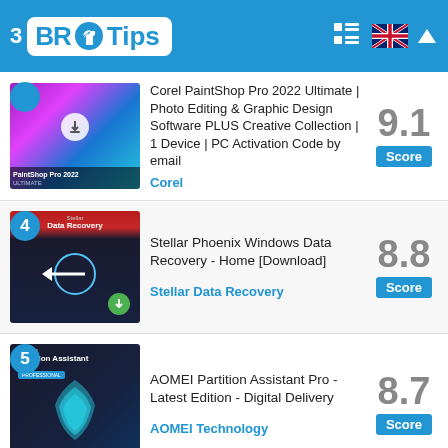3 BR Tips
Corel PaintShop Pro 2022 Ultimate | Photo Editing & Graphic Design Software PLUS Creative Collection | 1 Device | PC Activation Code by email - Corel - Score: 9.1
4 Stellar Phoenix Windows Data Recovery - Home [Download] - Stellar Data Recovery - Score: 8.8
5 AOMEI Partition Assistant Pro - Latest Edition - Digital Delivery - AOMEI Technology - Score: 8.7